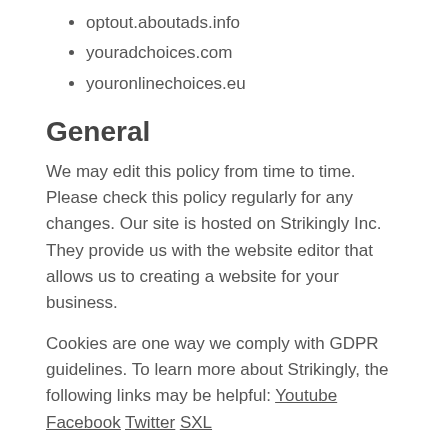optout.aboutads.info
youradchoices.com
youronlinechoices.eu
General
We may edit this policy from time to time. Please check this policy regularly for any changes. Our site is hosted on Strikingly Inc. They provide us with the website editor that allows us to creating a website for your business.
Cookies are one way we comply with GDPR guidelines. To learn more about Strikingly, the following links may be helpful: Youtube Facebook Twitter SXL